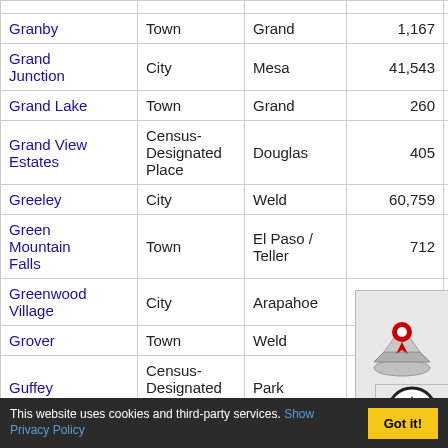| Name | Type | County | 1990 | 2000 | 2010 | 2020 |
| --- | --- | --- | --- | --- | --- | --- |
| Granby | Town | Grand | 1,167 | 1,607 | 1,856 | 2,079+ |
| Grand Junction | City | Mesa | 41,543 | 48,494 | 59,034 | 65,560+ |
| Grand Lake | Town | Grand | 260 | 446 | 469 | 410+ |
| Grand View Estates | Census-Designated Place | Douglas | 405 | 640 | 685 | 689+ |
| Greeley | City | Weld | 60,759 | 78,068 | 92,953 | 108,795+ |
| Green Mountain Falls | Town | El Paso / Teller | 712 | 720 | 647 | 646+ |
| Greenwood Village | City | Arapahoe | 8,435 | 11,297 | 13,919 | 15,691+ |
| Grover | Town | Weld | 135 | 154 | 139 | 157+ |
| Guffey | Census-Designated Place | Park | 33 | 56 | 98 |  |
This website uses cookies and third-party services. Show Privacy Policy  Got it!